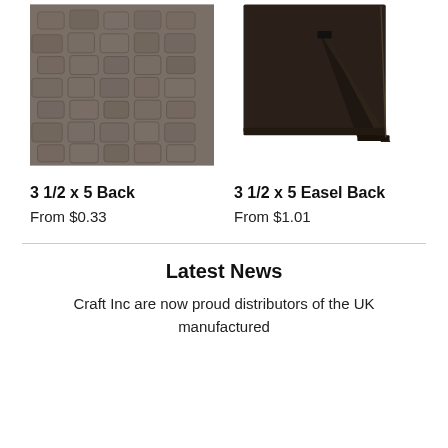[Figure (photo): Close-up of grey/brown crocodile-textured material surface]
[Figure (photo): Back view of a dark brown photo frame with easel stand open]
3 1/2 x 5 Back
From $0.33
3 1/2 x 5 Easel Back
From $1.01
Latest News
Craft Inc are now proud distributors of the UK manufactured